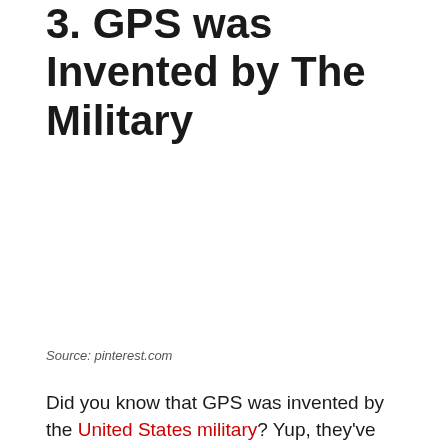3. GPS was invented by The Military
Source: pinterest.com
Did you know that GPS was invented by the United States military? Yup, they've invented it for the sole purpose of